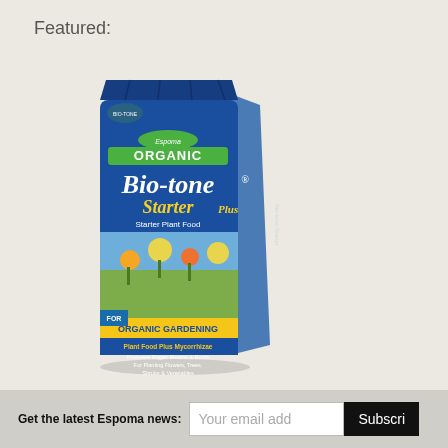Featured:
[Figure (photo): Espoma Organic Bio-tone Starter Plus fertilizer bag — a tall blue bag with green and white branding, labeled 'ORGANIC Bio-tone Starter Plus, Starter Plant Food', 'FOR ORGANIC GARDENING', 'Plant Food Plus Mycorrhizae, Promotes Bigger Blooms & Roots, For Planting Flowers, Trees, Shrubs & Vegetables']
Get the latest Espoma news:
Your email add
Subscri